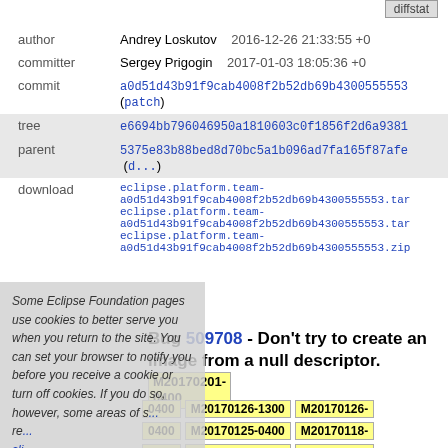| Field | Value |
| --- | --- |
| author | Andrey Loskutov    2016-12-26 21:33:55 +0 |
| committer | Sergey Prigogin    2017-01-03 18:05:36 +0 |
| commit | a0d51d43b91f9cab4008f2b52db69b4300555553 (patch) |
| tree | e6694bb796046950a1810603c0f1856f2d6a9381 |
| parent | 5375e83b88bed8d70bc5a1b096ad7fa165f87afe (d...) |
| download | eclipse.platform.team-a0d51d43b91f9cab4008f2b52db69b4300555553.tar...
eclipse.platform.team-a0d51d43b91f9cab4008f2b52db69b4300555553.tar...
eclipse.platform.team-a0d51d43b91f9cab4008f2b52db69b4300555553.zip |
Some Eclipse Foundation pages use cookies to better serve you when you return to the site. You can set your browser to notify you before you receive a cookie or turn off cookies. If you do so, however, some areas of some sites may not function properly. To read Eclipse Foundation Privacy Policy
Bug 509708 - Don't try to create an image from a null descriptor.
M20170201-0400  M20170126-1300  M20170126-0400  M20170125-0400  M20170118-0400  M20170118-0830  M20170118-0500  M20170118-0430  M20170111-0400  M20170105-1300  M20170104-1200  M20170104-0545  M20170104-0400  M20170104-...